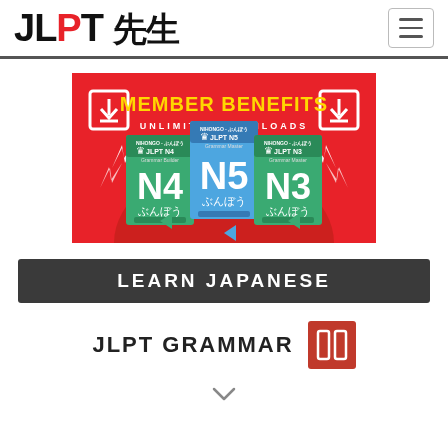JLPT 先生
[Figure (illustration): Red promotional banner for JLPT 先生 member benefits showing three grammar books (N4, N5, N3) with text 'MEMBER BENEFITS UNLIMITED DOWNLOADS']
LEARN JAPANESE
JLPT GRAMMAR